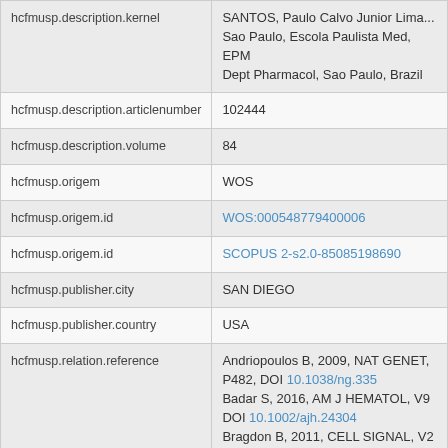| Field | Value |
| --- | --- |
| hcfmusp.description.kernel | SANTOS, Paulo Calvo Junior Lima...
Sao Paulo, Escola Paulista Med, EPM
Dept Pharmacol, Sao Paulo, Brazil |
| hcfmusp.description.articlenumber | 102444 |
| hcfmusp.description.volume | 84 |
| hcfmusp.origem | WOS |
| hcfmusp.origem.id | WOS:000548779400006 |
| hcfmusp.origem.id | SCOPUS 2-s2.0-85085198690 |
| hcfmusp.publisher.city | SAN DIEGO |
| hcfmusp.publisher.country | USA |
| hcfmusp.relation.reference | Andriopoulos B, 2009, NAT GENET,
P482, DOI 10.1038/ng.335
Badar S, 2016, AM J HEMATOL, V9
DOI 10.1002/ajh.24304
Bragdon B, 2011, CELL SIGNAL, V2
DOI 10.1016/j.cellsig.2010.10.003 |